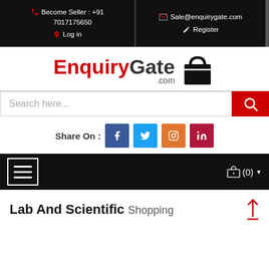Become Seller : +91 7017175650 | Sale@enquirygate.com | Log in | Register
[Figure (logo): EnquiryGate.com logo with shopping bag icon]
Search here...
Share On : [Facebook] [Twitter] [Instagram] [LinkedIn]
☰ (0) ▼
Lab And Scientific Shopping